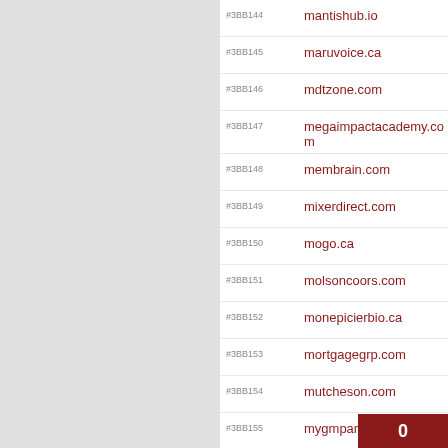#3BB144 mantishub.io
#3BB145 maruvoice.ca
#3BB146 mdtzone.com
#3BB147 megaimpactacademy.com
#3BB148 membrain.com
#3BB149 mixerdirect.com
#3BB150 mogo.ca
#3BB151 molsoncoors.com
#3BB152 monepicierbio.ca
#3BB153 mortgagegrp.com
#3BB154 mutcheson.com
#3BB155 mygmparts.ca
#3BB156 mygobc.ca